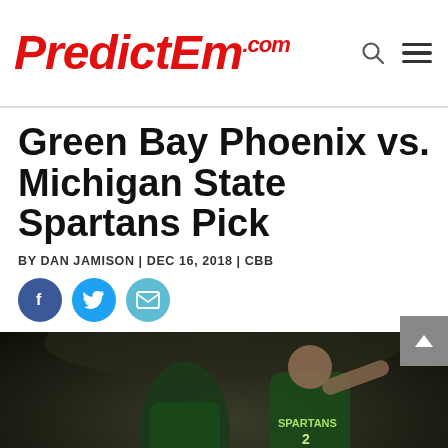PredictEm.com
Green Bay Phoenix vs. Michigan State Spartans Pick
BY DAN JAMISON | DEC 16, 2018 | CBB
[Figure (photo): Michigan State Spartans basketball players in green uniforms celebrating on court; player #11 Nairn Jr. and player #2 in Spartans jersey visible]